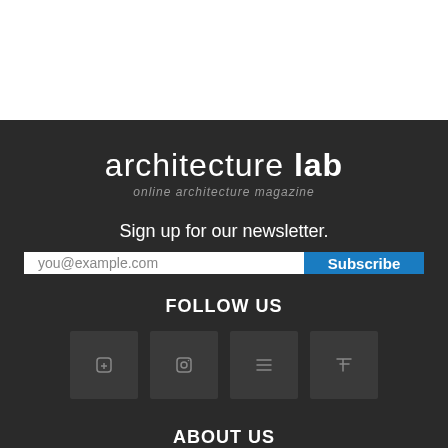architecture lab
online architecture magazine
Sign up for our newsletter.
you@example.com  Subscribe
FOLLOW US
[Figure (other): Four social media icon buttons in dark square tiles]
ABOUT US